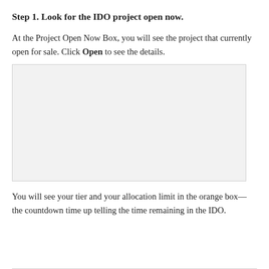Step 1. Look for the IDO project open now.
At the Project Open Now Box, you will see the project that currently open for sale. Click Open to see the details.
[Figure (screenshot): Screenshot placeholder showing the IDO Project Open Now Box interface]
You will see your tier and your allocation limit in the orange box—the countdown time up telling the time remaining in the IDO.